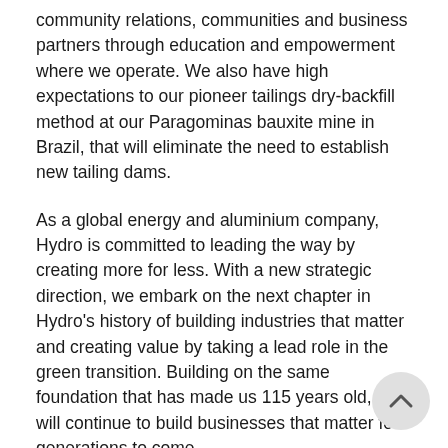community relations, communities and business partners through education and empowerment where we operate. We also have high expectations to our pioneer tailings dry-backfill method at our Paragominas bauxite mine in Brazil, that will eliminate the need to establish new tailing dams.
As a global energy and aluminium company, Hydro is committed to leading the way by creating more for less. With a new strategic direction, we embark on the next chapter in Hydro's history of building industries that matter and creating value by taking a lead role in the green transition. Building on the same foundation that has made us 115 years old, we will continue to build businesses that matter for generations to come.